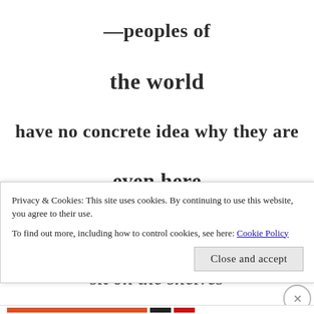—peoples of
the world
have no concrete idea why they are
even here
and books that tell the stories
sit on the shelves
Privacy & Cookies: This site uses cookies. By continuing to use this website, you agree to their use.
To find out more, including how to control cookies, see here: Cookie Policy
Close and accept